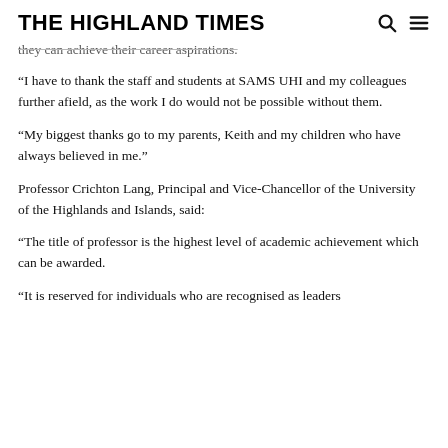THE HIGHLAND TIMES
they can achieve their career aspirations.
“I have to thank the staff and students at SAMS UHI and my colleagues further afield, as the work I do would not be possible without them.
“My biggest thanks go to my parents, Keith and my children who have always believed in me.”
Professor Crichton Lang, Principal and Vice-Chancellor of the University of the Highlands and Islands, said:
“The title of professor is the highest level of academic achievement which can be awarded.
“It is reserved for individuals who are recognised as leaders